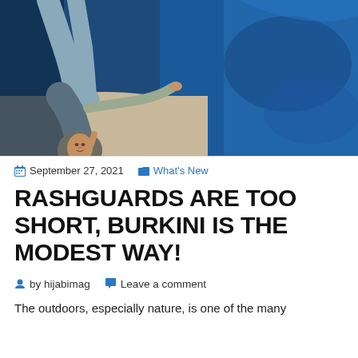[Figure (photo): Overhead view of a woman wearing a hijab and modest clothing, lying or sitting near a blue poolside surface, viewed from above at an inverted angle.]
September 27, 2021   What's New
RASHGUARDS ARE TOO SHORT, BURKINI IS THE MODEST WAY!
by hijabimag   Leave a comment
The outdoors, especially nature, is one of the many